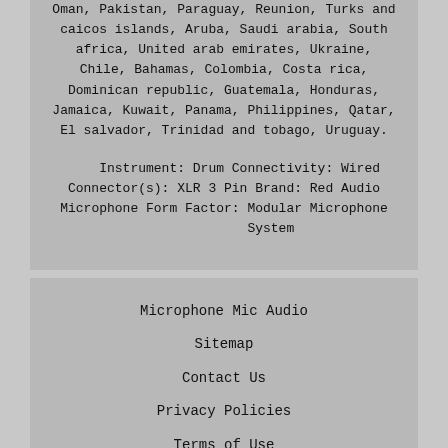Oman, Pakistan, Paraguay, Reunion, Turks and caicos islands, Aruba, Saudi arabia, South africa, United arab emirates, Ukraine, Chile, Bahamas, Colombia, Costa rica, Dominican republic, Guatemala, Honduras, Jamaica, Kuwait, Panama, Philippines, Qatar, El salvador, Trinidad and tobago, Uruguay.
Instrument: Drum Connectivity: Wired Connector(s): XLR 3 Pin Brand: Red Audio Microphone Form Factor: Modular Microphone System
Microphone Mic Audio
Sitemap
Contact Us
Privacy Policies
Terms of Use